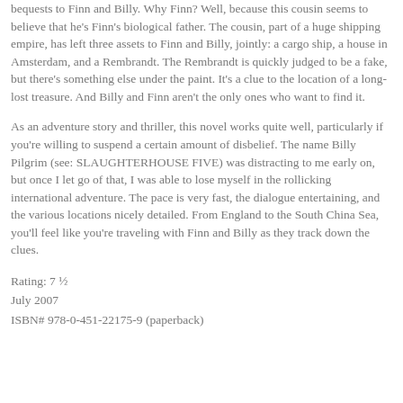bequests to Finn and Billy. Why Finn? Well, because this cousin seems to believe that he's Finn's biological father. The cousin, part of a huge shipping empire, has left three assets to Finn and Billy, jointly: a cargo ship, a house in Amsterdam, and a Rembrandt. The Rembrandt is quickly judged to be a fake, but there's something else under the paint. It's a clue to the location of a long-lost treasure. And Billy and Finn aren't the only ones who want to find it.
As an adventure story and thriller, this novel works quite well, particularly if you're willing to suspend a certain amount of disbelief. The name Billy Pilgrim (see: SLAUGHTERHOUSE FIVE) was distracting to me early on, but once I let go of that, I was able to lose myself in the rollicking international adventure. The pace is very fast, the dialogue entertaining, and the various locations nicely detailed. From England to the South China Sea, you'll feel like you're traveling with Finn and Billy as they track down the clues.
Rating: 7 ½
July 2007
ISBN# 978-0-451-22175-9 (paperback)